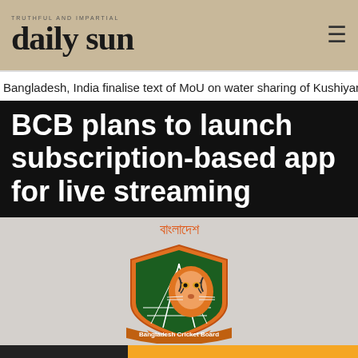daily sun
Bangladesh, India finalise text of MoU on water sharing of Kushiyara r
BCB plans to launch subscription-based app for live streaming
[Figure (logo): Bangladesh Cricket Board logo — orange and green shield crest with a tiger and bridge graphic, Bengali text 'বাংলাদেশ' above, 'Bangladesh Cricket Board' on scroll banner below]